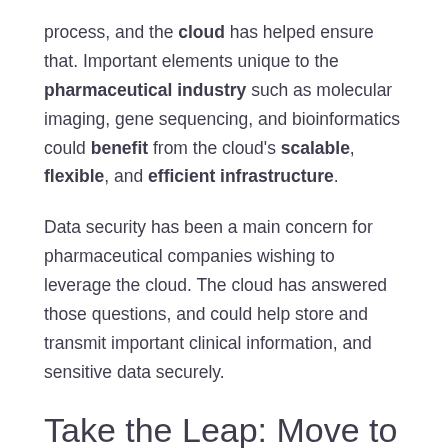process, and the cloud has helped ensure that. Important elements unique to the pharmaceutical industry such as molecular imaging, gene sequencing, and bioinformatics could benefit from the cloud's scalable, flexible, and efficient infrastructure.
Data security has been a main concern for pharmaceutical companies wishing to leverage the cloud. The cloud has answered those questions, and could help store and transmit important clinical information, and sensitive data securely.
Take the Leap: Move to the Cloud
The cloud has helped pharmaceutical companies